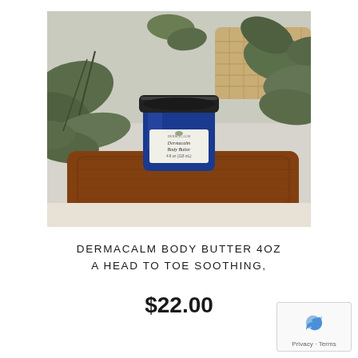[Figure (photo): A blue glass jar of Dermacalm Body Butter 4oz sitting on a wooden tray, surrounded by green plants and a wicker basket in the background.]
DERMACALM BODY BUTTER 4OZ A HEAD TO TOE SOOTHING,
$22.00